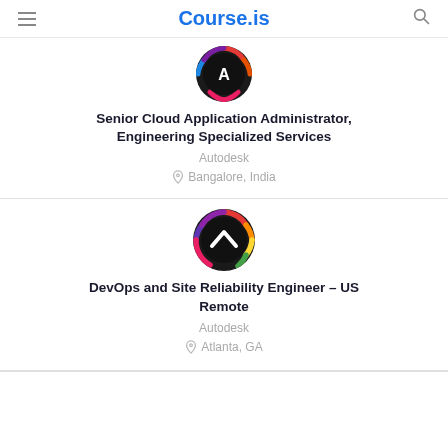Course.is
[Figure (logo): Autodesk circular logo with colorful ring on black background]
Senior Cloud Application Administrator, Engineering Specialized Services
Autodesk
Bangalore, India
[Figure (logo): Autodesk circular logo with colorful ring on black background and white arrow/shape]
DevOps and Site Reliability Engineer – US Remote
Autodesk
Atlanta, GA